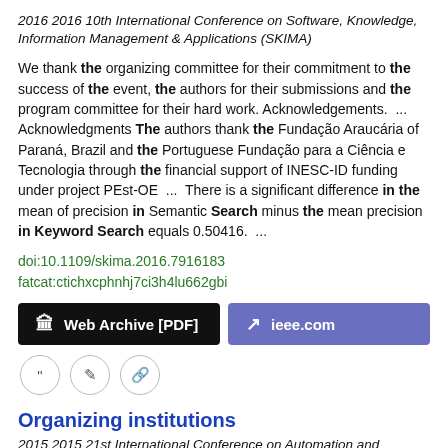2016 2016 10th International Conference on Software, Knowledge, Information Management & Applications (SKIMA)
We thank the organizing committee for their commitment to the success of the event, the authors for their submissions and the program committee for their hard work. Acknowledgements.  ...  Acknowledgments The authors thank the Fundação Araucária of Paraná, Brazil and the Portuguese Fundação para a Ciência e Tecnologia through the financial support of INESC-ID funding under project PEst-OE  ...  There is a significant difference in the mean of precision in Semantic Search minus the mean precision in Keyword Search equals 0.50416.  ...
doi:10.1109/skima.2016.7916183
fatcat:ctichxcphnhj7ci3h4lu662gbi
[Figure (other): Two buttons: 'Web Archive [PDF]' (black background) and 'ieee.com' (purple background), plus three small circular icon buttons below]
Organizing institutions
2015 2015 21st International Conference on Automation and Computing (ICAC)
We thank the organizing committee for their commitment to...